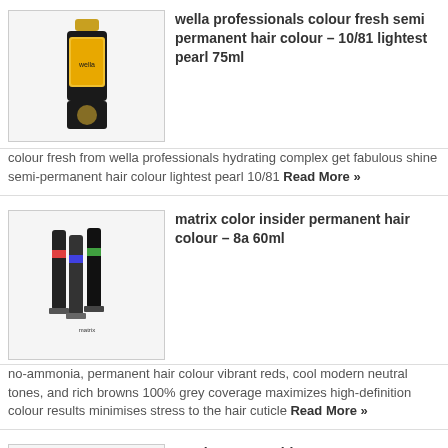[Figure (photo): Wella Professionals hair colour bottle with gold cap]
wella professionals colour fresh semi permanent hair colour – 10/81 lightest pearl 75ml
colour fresh from wella professionals hydrating complex get fabulous shine semi-permanent hair colour lightest pearl 10/81 Read More »
[Figure (photo): Matrix color insider hair colour tubes]
matrix color insider permanent hair colour – 8a 60ml
no-ammonia, permanent hair colour vibrant reds, cool modern neutral tones, and rich browns 100% grey coverage maximizes high-definition colour results minimises stress to the hair cuticle Read More »
[Figure (photo): Magicap reuseable cap product box]
magicap reuseable cap
reusable cap from magicap designed for frosting and tipping treatments long-lasting self-sealing with protective brim one cap supplied with metal needle Read More »
[Figure (photo): Airbase thinner and cleaner bottle and box]
airbase thinner and cleaner 100ml
airbase thinner and cleaner dilute thicker foundations get lighter shades better coverage can also be used to clean